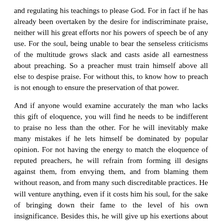and regulating his teachings to please God. For in fact if he has already been overtaken by the desire for indiscriminate praise, neither will his great efforts nor his powers of speech be of any use. For the soul, being unable to bear the senseless criticisms of the multitude grows slack and casts aside all earnestness about preaching. So a preacher must train himself above all else to despise praise. For without this, to know how to preach is not enough to ensure the preservation of that power.
And if anyone would examine accurately the man who lacks this gift of eloquence, you will find he needs to be indifferent to praise no less than the other. For he will inevitably make many mistakes if he lets himself be dominated by popular opinion. For not having the energy to match the eloquence of reputed preachers, he will refrain from forming ill designs against them, from envying them, and from blaming them without reason, and from many such discreditable practices. He will venture anything, even if it costs him his soul, for the sake of bringing down their fame to the level of his own insignificance. Besides this, he will give up his exertions about his work because a kind of numbness has taken over his spirit. For much toil rewarded by scanty praise is sufficient to cast down a man who cannot despise praise and put him into a deep lethargy when he toils hard but earns all the less approbation. When a farmer labors on poor land and is forced to farm a rocky plot, he soon gives up his toil unless he is full of